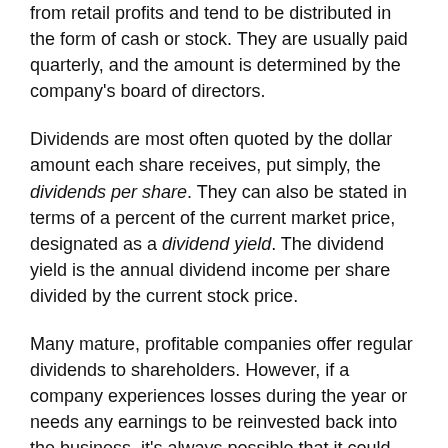from retail profits and tend to be distributed in the form of cash or stock. They are usually paid quarterly, and the amount is determined by the company's board of directors.
Dividends are most often quoted by the dollar amount each share receives, put simply, the dividends per share. They can also be stated in terms of a percent of the current market price, designated as a dividend yield. The dividend yield is the annual dividend income per share divided by the current stock price.
Many mature, profitable companies offer regular dividends to shareholders. However, if a company experiences losses during the year or needs any earnings to be reinvested back into the business, it's always possible that it could decide to suspend dividends. Earnings can be influenced by economic, market, and political events. It's important to remember that a company can decide to increase, decrease, or stop paying dividends at any time.